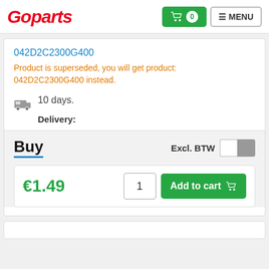[Figure (logo): Goparts logo in red italic text]
042D2C2300G400
Product is superseded, you will get product: 042D2C2300G400 instead.
10 days.
Delivery:
Buy
Excl. BTW
€1.49
1
Add to cart